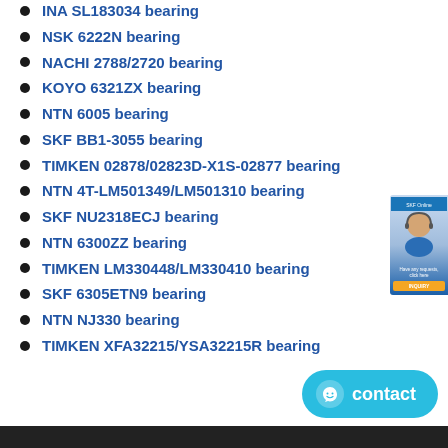INA SL183034 bearing
NSK 6222N bearing
NACHI 2788/2720 bearing
KOYO 6321ZX bearing
NTN 6005 bearing
SKF BB1-3055 bearing
TIMKEN 02878/02823D-X1S-02877 bearing
NTN 4T-LM501349/LM501310 bearing
SKF NU2318ECJ bearing
NTN 6300ZZ bearing
TIMKEN LM330448/LM330410 bearing
SKF 6305ETN9 bearing
NTN NJ330 bearing
TIMKEN XFA32215/YSA32215R bearing
[Figure (photo): Customer service representative image with contact button]